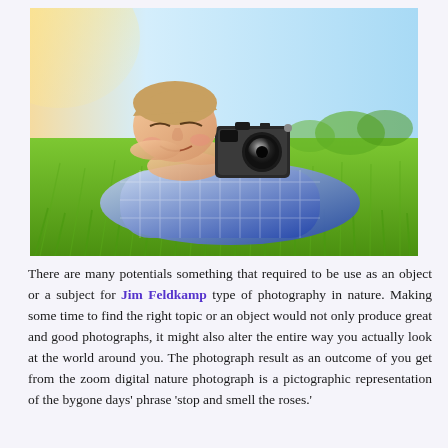[Figure (photo): A young boy lying on grass, holding up a vintage film camera to his face and squinting one eye as if taking a photo. He is wearing a blue plaid shirt. The background shows bright green grass and a soft sunlit sky.]
There are many potentials something that required to be use as an object or a subject for Jim Feldkamp type of photography in nature. Making some time to find the right topic or an object would not only produce great and good photographs, it might also alter the entire way you actually look at the world around you. The photograph result as an outcome of you get from the zoom digital nature photograph is a pictographic representation of the bygone days' phrase 'stop and smell the roses.'